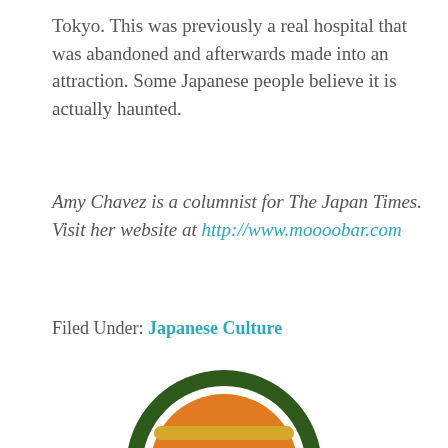Tokyo. This was previously a real hospital that was abandoned and afterwards made into an attraction. Some Japanese people believe it is actually haunted.
Amy Chavez is a columnist for The Japan Times. Visit her website at http://www.moooobar.com
Filed Under: Japanese Culture
[Figure (logo): Circular logo with dark green outer ring, white gap, and orange inner circle containing a yellow torii gate symbol]